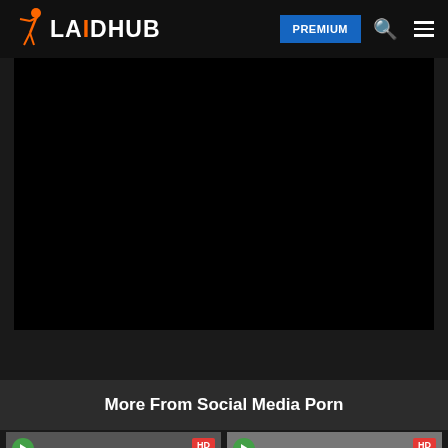LAIDHUB — PREMIUM navigation header with search and menu icons
[Figure (screenshot): Black video player area embedded in dark page background]
More From Social Media Porn
[Figure (photo): Video thumbnail left — people in public setting, HD badge, green play circle]
[Figure (photo): Video thumbnail right — person in jeans from behind, HD badge, green play circle]